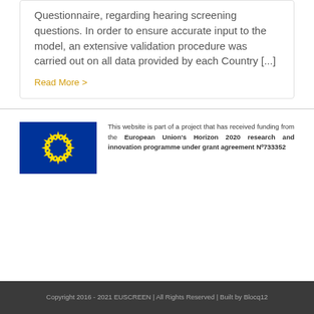Questionnaire, regarding hearing screening questions. In order to ensure accurate input to the model, an extensive validation procedure was carried out on all data provided by each Country [...]
Read More >
This website is part of a project that has received funding from the European Union's Horizon 2020 research and innovation programme under grant agreement Nº733352
Copyright 2016 - 2021 EUSCREEN | All Rights Reserved | Built by Blocq12